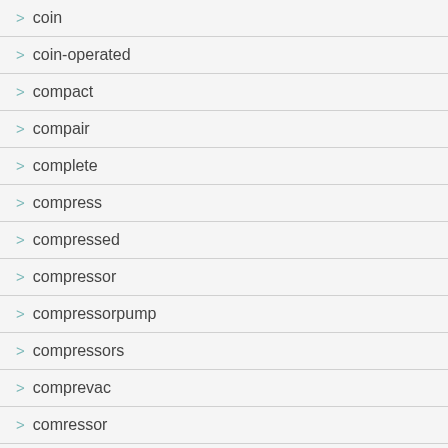> coin
> coin-operated
> compact
> compair
> complete
> compress
> compressed
> compressor
> compressorpump
> compressors
> comprevac
> comressor
> concrete